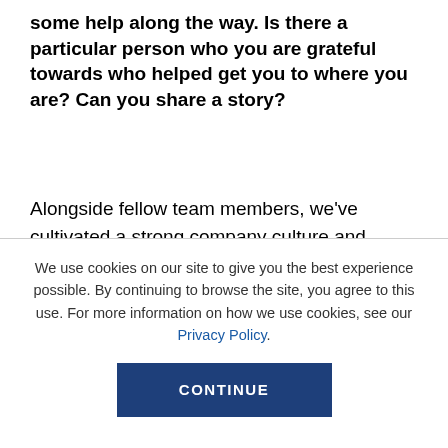some help along the way. Is there a particular person who you are grateful towards who helped get you to where you are? Can you share a story?
Alongside fellow team members, we've cultivated a strong company culture and worked to empower individual team members to make One Click successful, therefore, I credit much of my success to the talented individuals who work tirelessly for our brands each and every day. Without my team, I don't think we'd be in the
We use cookies on our site to give you the best experience possible. By continuing to browse the site, you agree to this use. For more information on how we use cookies, see our Privacy Policy.
CONTINUE